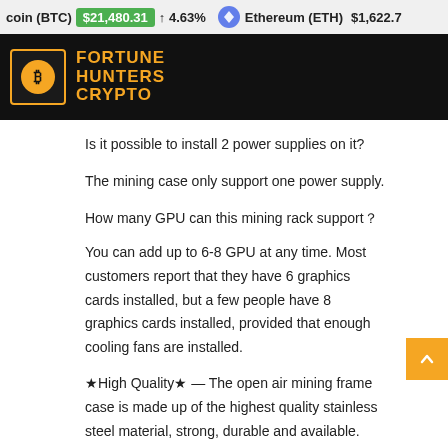coin (BTC) $21,480.31 ↑ 4.63% Ethereum (ETH) $1,622.7
[Figure (logo): Fortune Hunters Crypto logo with Bitcoin symbol on dark background]
Is it possible to install 2 power supplies on it?
The mining case only support one power supply.
How many GPU can this mining rack support？
You can add up to 6-8 GPU at any time. Most customers report that they have 6 graphics cards installed, but a few people have 8 graphics cards installed, provided that enough cooling fans are installed.
★High Quality★ — The open air mining frame case is made up of the highest quality stainless steel material, strong, durable and available. Fully protecting your GPU and eectronic device